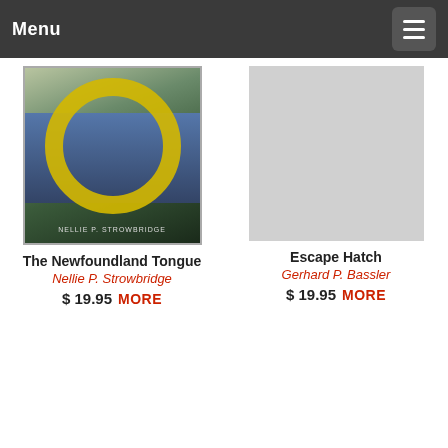Menu
[Figure (photo): Book cover for 'The Newfoundland Tongue' by Nellie P. Strowbridge, showing a harbor scene with a yellow ring/porthole and the author name at the bottom.]
The Newfoundland Tongue
Nellie P. Strowbridge
$ 19.95 MORE
[Figure (photo): Book cover placeholder (no image visible) for 'Escape Hatch' by Gerhard P. Bassler.]
Escape Hatch
Gerhard P. Bassler
$ 19.95 MORE